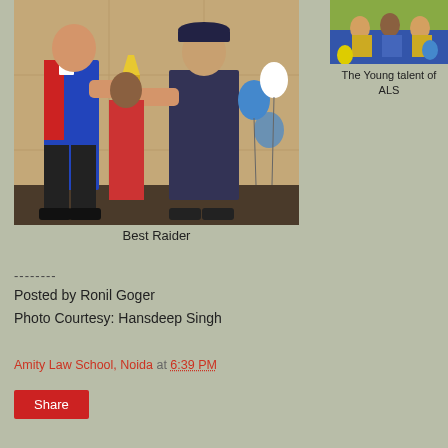[Figure (photo): A young man in blue and red sports jersey receiving a trophy from an older man in a dark suit and cap, with a woman in red and balloons visible in the background]
Best Raider
[Figure (photo): Thumbnail image showing young people, likely students at a sports event with blue and yellow colors]
The Young talent of ALS
--------
Posted by Ronil Goger
Photo Courtesy: Hansdeep Singh
Amity Law School, Noida at 6:39 PM
Share